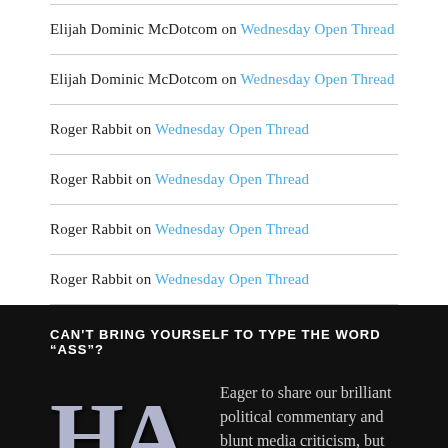Elijah Dominic McDotcom on Wednesday Open Thread
Elijah Dominic McDotcom on Wednesday Open Thread
Roger Rabbit on Wednesday Open Thread
Roger Rabbit on Wednesday Open Thread
Roger Rabbit on Wednesday Open Thread
Roger Rabbit on Wednesday Open Thread
CAN'T BRING YOURSELF TO TYPE THE WORD “ASS”?
[Figure (logo): Stylized 'HA' letters logo in light gray/blue on black background]
Eager to share our brilliant political commentary and blunt media criticism, but